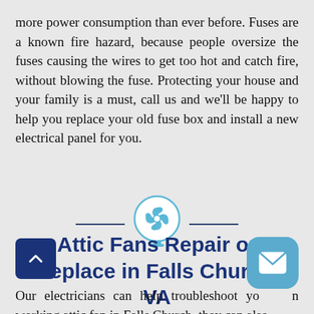more power consumption than ever before. Fuses are a known fire hazard, because people oversize the fuses causing the wires to get too hot and catch fire, without blowing the fuse. Protecting your house and your family is a must, call us and we'll be happy to help you replace your old fuse box and install a new electrical panel for you.
[Figure (illustration): Attic fan icon inside a light blue circle with horizontal divider lines on each side]
Attic Fans Repair or Replace in Falls Church, VA
Our electricians can help troubleshoot your non working attic fan in Falls Church, they can also